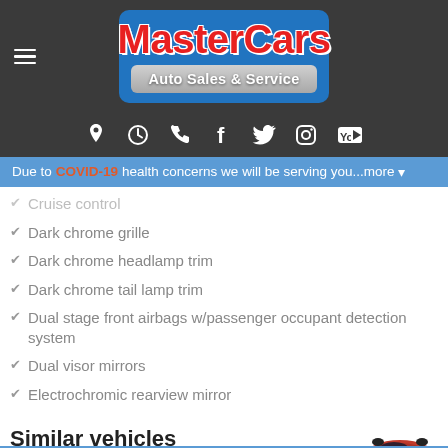[Figure (logo): MasterCars Auto Sales & Service logo on blue rounded rectangle background with hamburger menu icon on the left]
[Figure (infographic): Navigation icon bar with location pin, clock, phone, facebook, twitter, instagram, youtube icons on dark background]
Due to COVID-19 health concerns we will be serving you...more
Cruise control
Dark chrome grille
Dark chrome headlamp trim
Dark chrome tail lamp trim
Dual stage front airbags w/passenger occupant detection system
Dual visor mirrors
Electrochromic rearview mirror
Similar vehicles
[Figure (illustration): Red sports car viewed from above-front angle]